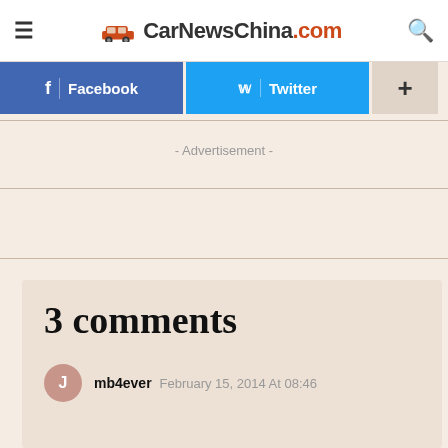CarNewsChina.com
Facebook  Twitter  +
- Advertisement -
3 comments
mb4ever  February 15, 2014 At 08:46